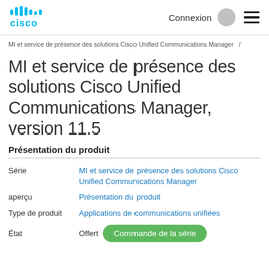Cisco logo | Connexion [avatar] [menu]
MI et service de présence des solutions Cisco Unified Communications Manager  /
MI et service de présence des solutions Cisco Unified Communications Manager, version 11.5
Présentation du produit
|  |  |
| --- | --- |
| Série | MI et service de présence des solutions Cisco Unified Communications Manager |
| aperçu | Présentation du produit |
| Type de produit | Applications de communications unifiées |
| État | Offert  Commande de la série |